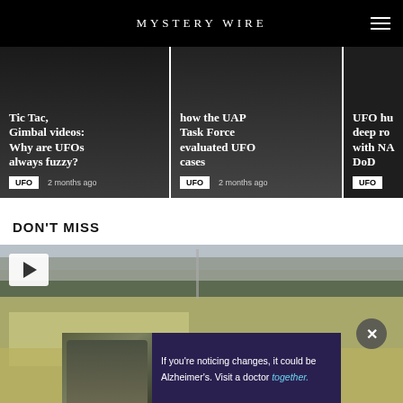MYSTERY WIRE
[Figure (screenshot): Card 1: Tic Tac, Gimbal videos: Why are UFOs always fuzzy? UFO tag, 2 months ago]
[Figure (screenshot): Card 2: how the UAP Task Force evaluated UFO cases. UFO tag, 2 months ago]
[Figure (screenshot): Card 3 partial: UFO hu... deep ro... with NA... DoD. UFO tag]
DON'T MISS
[Figure (photo): Aerial photograph of the Pentagon building and surrounding area, with a video play button overlay in top-left and a close (X) button. An advertisement banner at the bottom reads: If you're noticing changes, it could be Alzheimer's. Visit a doctor together.]